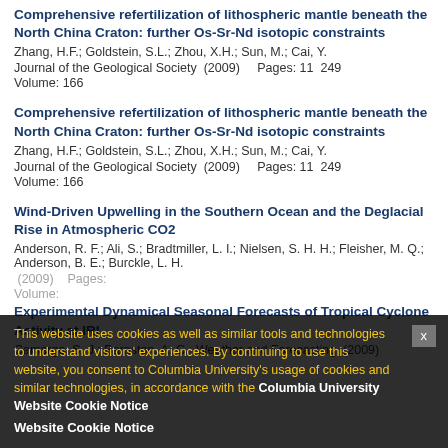Comprehensive refertilization of lithospheric mantle beneath the North China Craton: further Os-Sr-Nd isotopic constraints
Zhang, H.F.; Goldstein, S.L.; Zhou, X.H.; Sun, M.; Cai, Y.
Journal of the Geological Society (2009)    Pages: 11  249
Volume: 166
Comprehensive refertilization of lithospheric mantle beneath the North China Craton: further Os-Sr-Nd isotopic constraints
Zhang, H.F.; Goldstein, S.L.; Zhou, X.H.; Sun, M.; Cai, Y.
Journal of the Geological Society (2009)    Pages: 11  249
Volume: 166
Wind-Driven Upwelling in the Southern Ocean and the Deglacial Rise in Atmospheric CO2
Anderson, R. F.; Ali, S.; Bradtmiller, L. I.; Nielsen, S. H. H.; Fleisher, M. Q.; Anderson, B. E.; Burckle, L. H.
[partial] (2009)    Pages: [partial]
Volume: [partial]
Experimental Dynamical Seasonal Forecasts of Tropical Cyclone Activity at IRI
Camargo, S. J.; Barnston, A. G.  Weather and Forecasting  (2009)
This website uses cookies as well as similar tools and technologies to understand visitors' experiences. By continuing to use this website, you consent to Columbia University's usage of cookies and similar technologies, in accordance with the Columbia University Website Cookie Notice